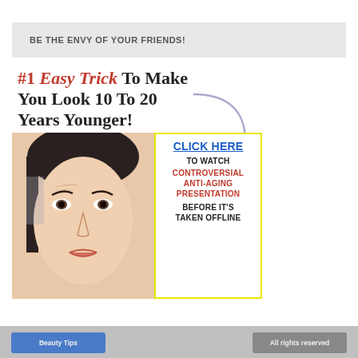BE THE ENVY OF YOUR FRIENDS!
#1 Easy Trick To Make You Look 10 To 20 Years Younger!
[Figure (illustration): Advertisement image with a woman's face on the left and a yellow-bordered call-to-action box on the right. The box reads: CLICK HERE / TO WATCH / CONTROVERSIAL / ANTI-AGING / PRESENTATION / BEFORE IT'S / TAKEN OFFLINE. A curved arrow points toward the box.]
Beauty Tips | All rights reserved